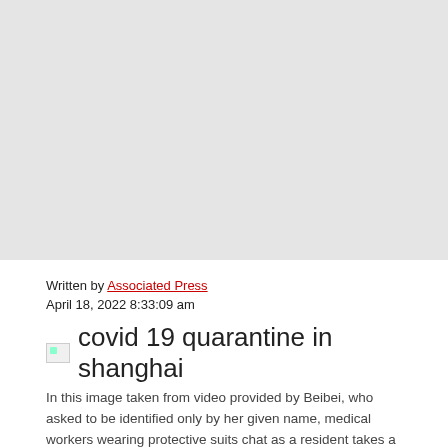[Figure (photo): Large grey placeholder for a photo — covid 19 quarantine in shanghai]
Written by Associated Press
April 18, 2022 8:33:09 am
[Figure (photo): Broken image icon for covid 19 quarantine in shanghai photo]
In this image taken from video provided by Beibei, who asked to be identified only by her given name, medical workers wearing protective suits chat as a resident takes a rest at the National Exhibition and Convention Center on April 15, 2022, in Shanghai. (Photo source: AP)